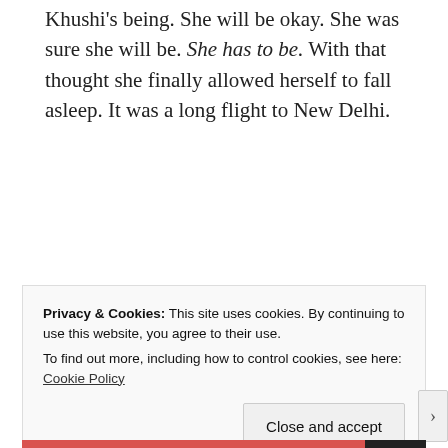Khushi's being. She will be okay. She was sure she will be. She has to be. With that thought she finally allowed herself to fall asleep. It was a long flight to New Delhi.
oOoOo
Privacy & Cookies: This site uses cookies. By continuing to use this website, you agree to their use.
To find out more, including how to control cookies, see here: Cookie Policy